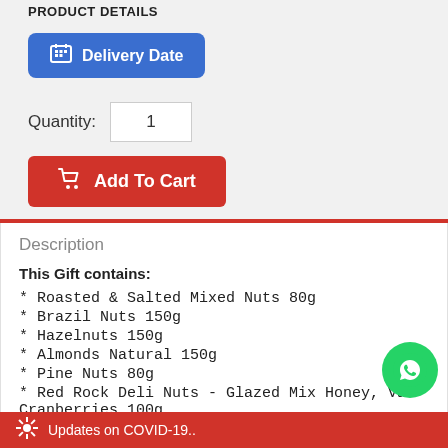PRODUCT DETAILS
Delivery Date
Quantity: 1
Add To Cart
Description
This Gift contains:
* Roasted & Salted Mixed Nuts 80g
* Brazil Nuts 150g
* Hazelnuts 150g
* Almonds Natural 150g
* Pine Nuts 80g
* Red Rock Deli Nuts - Glazed Mix Honey, Van Cranberries 100g
* Lindt Lindor Milk Mini Cornet
Updates on COVID-19..